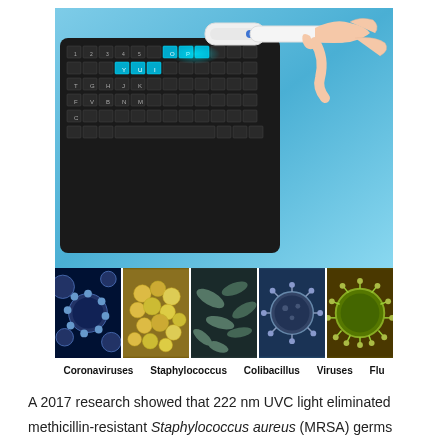[Figure (photo): A hand holding a white UV-C light wand device over a computer keyboard, with blue UV light illuminating the keys. Below, five microscopy images showing Coronaviruses, Staphylococcus, Colibacillus, Viruses, and Flu pathogens.]
Coronaviruses   Staphylococcus   Colibacillus   Viruses   Flu
A 2017 research showed that 222 nm UVC light eliminated methicillin-resistant Staphylococcus aureus (MRSA) germs